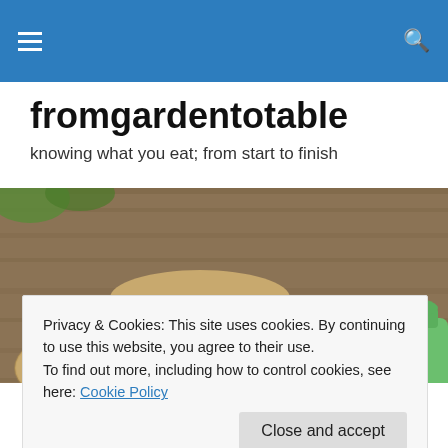fromgardentotable — navigation header with hamburger menu and search icon
fromgardentotable
knowing what you eat; from start to finish
[Figure (photo): A straw sun hat lying on a wooden surface with pink and white striped gardening gloves and a green watering can beside it]
Privacy & Cookies: This site uses cookies. By continuing to use this website, you agree to their use.
To find out more, including how to control cookies, see here: Cookie Policy
Close and accept
Have you ever planted something just because the